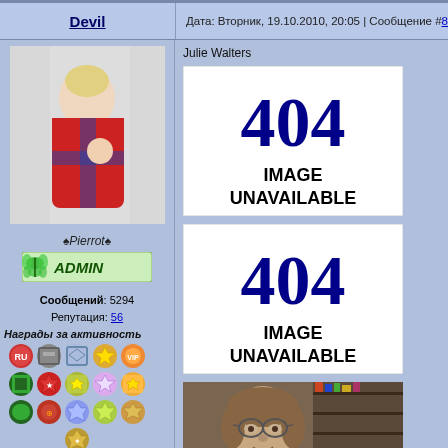Devil
Дата: Вторник, 19.10.2010, 20:05 | Сообщение # 8
[Figure (photo): Profile photo of a woman with blonde hair draped in a Union Jack flag]
♠Pierrot♠
[Figure (logo): ADMIN badge with butterfly icon]
Сообщений: 5294 Репутация: 56
Награды за активность
[Figure (infographic): Grid of colorful award/medal badges for activity]
Награды за репутацию
[Figure (infographic): Row of reputation award badges]
Julie Walters
[Figure (other): 404 IMAGE UNAVAILABLE placeholder]
[Figure (other): 404 IMAGE UNAVAILABLE placeholder]
[Figure (photo): Photo of an older woman with glasses in front of bookshelves]